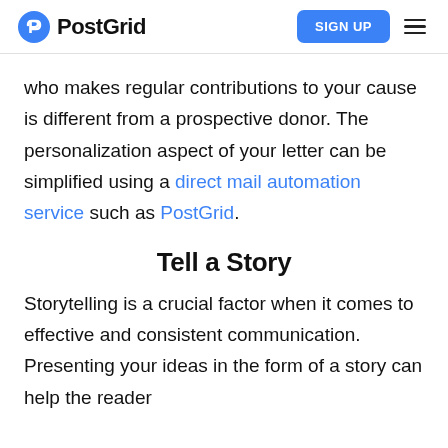PostGrid | SIGN UP
who makes regular contributions to your cause is different from a prospective donor. The personalization aspect of your letter can be simplified using a direct mail automation service such as PostGrid.
Tell a Story
Storytelling is a crucial factor when it comes to effective and consistent communication. Presenting your ideas in the form of a story can help the reader